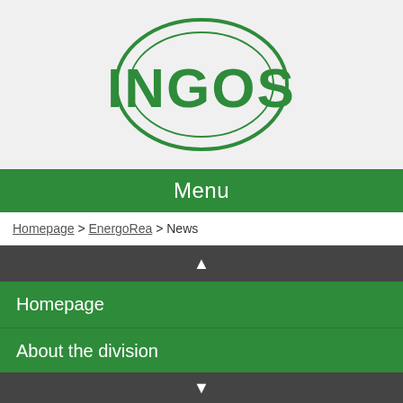[Figure (logo): INGOS logo — bold green letters INGOS inside an oval circle outline on light gray background]
Menu
Homepage > EnergoRea > News
▲
Homepage
About the division
Main activities and fields
News
References and awards
Photogallery
Contact
▼